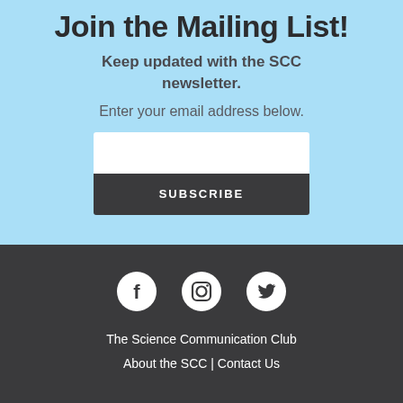Join the Mailing List!
Keep updated with the SCC newsletter.
Enter your email address below.
[Figure (other): Email input field (white rectangle) and SUBSCRIBE button (dark rectangle)]
[Figure (infographic): Social media icons: Facebook, Instagram, Twitter on dark background]
The Science Communication Club
About the SCC | Contact Us